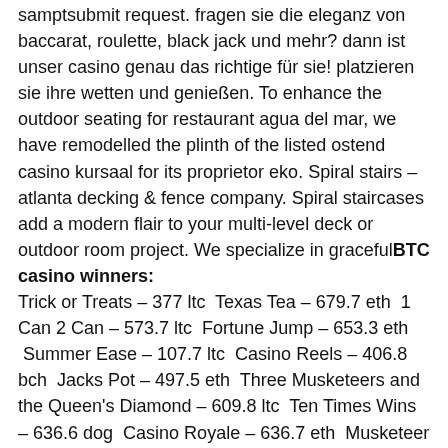samptsubmit request. Fragen sie die eleganz von baccarat, roulette, black jack und mehr? dann ist unser casino genau das richtige für sie! platzieren sie ihre wetten und genießen. To enhance the outdoor seating for restaurant agua del mar, we have remodelled the plinth of the listed ostend casino kursaal for its proprietor eko. Spiral stairs – atlanta decking & fence company. Spiral staircases add a modern flair to your multi-level deck or outdoor room project. We specialize in graceful
BTC casino winners:
Trick or Treats – 377 ltc  Texas Tea – 679.7 eth  1 Can 2 Can – 573.7 ltc  Fortune Jump – 653.3 eth  Summer Ease – 107.7 ltc  Casino Reels – 406.8 bch  Jacks Pot – 497.5 eth  Three Musketeers and the Queen's Diamond – 609.8 ltc  Ten Times Wins – 636.6 dog  Casino Royale – 636.7 eth  Musketeer Slot – 322 btc  Jack O'Lantern Vs the Headless Horseman – 250 bch  Lucky 3 – 225.7 ltc  Gates of Hell – 323.9 btc  Family Guy – 66.3 bch
Casino staircase, best bitcoin casino joining offers
All they need to do is deposit at least 10 mBTC. Even though there is no loyalty scheme at Coinbet24, players